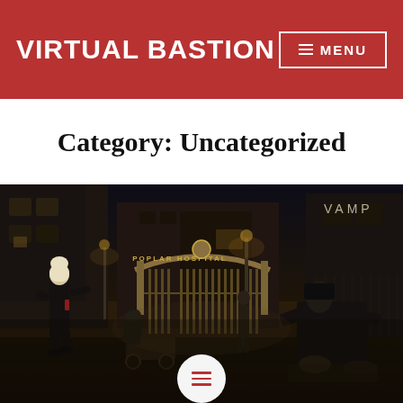VIRTUAL BASTION | MENU
Category: Uncategorized
[Figure (screenshot): Dark atmospheric screenshot from the game Vampyr, showing a Victorian-era nighttime scene outside Poplar Hospital. A female character in black stands on the left, a man crouches over a body on the right, and another figure stands in the background near the hospital gate. The text 'VAMP' is visible in the upper right corner.]